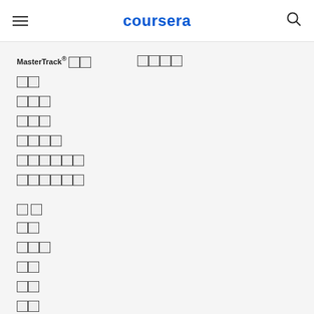coursera
MasterTrack® 강좌  강좌 유형
학위
유니버시티
기업용
정부 기관용
캠퍼스 솔루션
무료 강좌
로 그
학위
유니버시티
기업
정부
캠퍼스